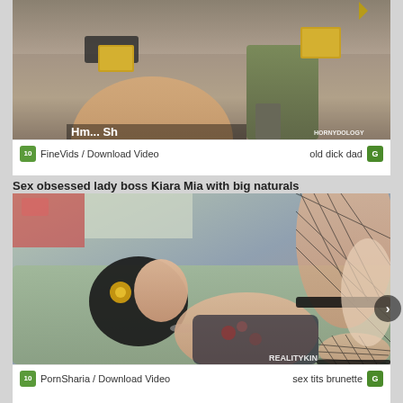[Figure (photo): Video thumbnail showing two people on a couch, partially cropped at top. Watermark: HORNYDOLOGY]
FineVids / Download Video    old dick dad
Sex obsessed lady boss Kiara Mia with big naturals
[Figure (photo): Video thumbnail showing a woman with dark hair in fishnet stockings on a green couch. Watermark: REALITYKIN]
PornSharia / Download Video    sex tits brunette